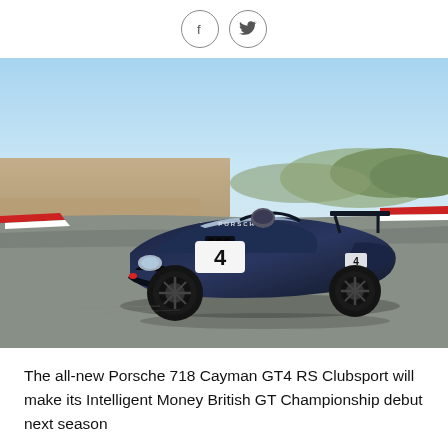[Figure (other): Social media share icons: Facebook (f) and Twitter (bird) in circular outlines]
[Figure (photo): A dark blue Porsche 718 Cayman GT4 RS Clubsport race car with number 4 on the hood, driving on a race track circuit. The car is photographed from a front-three-quarter angle with a racetrack and hills in the background under a blue sky.]
The all-new Porsche 718 Cayman GT4 RS Clubsport will make its Intelligent Money British GT Championship debut next season